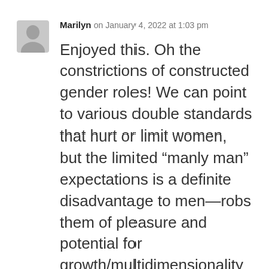[Figure (illustration): Grey silhouette avatar icon of a person]
Marilyn on January 4, 2022 at 1:03 pm
Enjoyed this. Oh the constrictions of constructed gender roles! We can point to various double standards that hurt or limit women, but the limited “manly man” expectations is a definite disadvantage to men—robs them of pleasure and potential for growth/multidimensionality and self-care, and in turn lessens